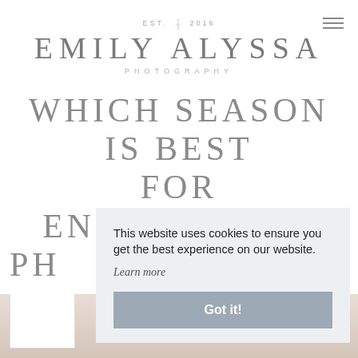EST. 2016 EMILY ALYSSA PHOTOGRAPHY
WHICH SEASON IS BEST FOR ENGAGEMENT PHOTOS
This website uses cookies to ensure you get the best experience on our website. Learn more
Got it!